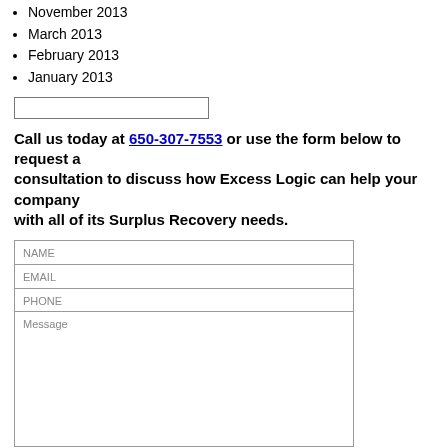November 2013
March 2013
February 2013
January 2013
Call us today at 650-307-7553 or use the form below to request a consultation to discuss how Excess Logic can help your company with all of its Surplus Recovery needs.
NAME
EMAIL
PHONE
Message